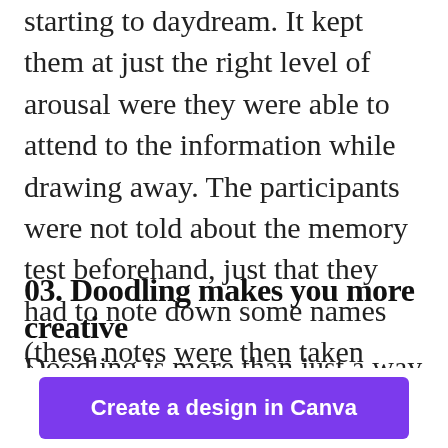starting to daydream. It kept them at just the right level of arousal were they were able to attend to the information while drawing away. The participants were not told about the memory test beforehand, just that they had to note down some names (these notes were then taken away before they were tested), so the non-doodlers had no reason not to drift away into their daydreams.
03. Doodling makes you more creative
Doodling is more than just a way to stop yourself from daydreaming and keeping your
[Figure (other): Canva 'Create a design in Canva' button at the bottom of the page]